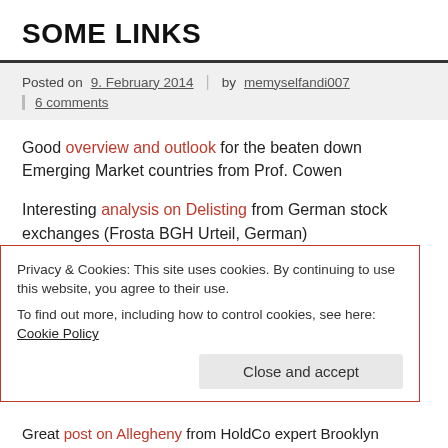SOME LINKS
Posted on 9. February 2014 | by memyselfandi007 | 6 comments
Good overview and outlook for the beaten down Emerging Market countries from Prof. Cowen
Interesting analysis on Delisting from German stock exchanges (Frosta BGH Urteil, German)
Alphavulture likes MAgix AG the German media
Privacy & Cookies: This site uses cookies. By continuing to use this website, you agree to their use.
To find out more, including how to control cookies, see here: Cookie Policy
Close and accept
Great post on Allegheny from HoldCo expert Brooklyn